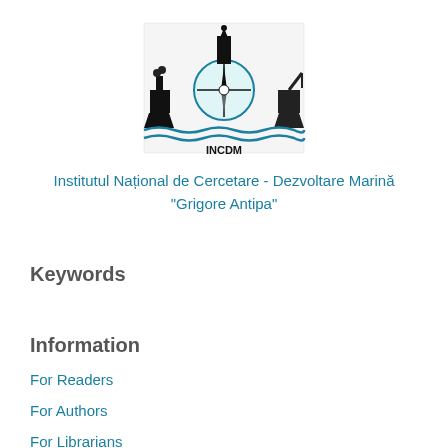[Figure (logo): INCDM logo showing ships and maritime equipment with waves, with 'INCDM' text below]
Institutul Național de Cercetare - Dezvoltare Marină "Grigore Antipa"
Keywords
Information
For Readers
For Authors
For Librarians
For Reviewers